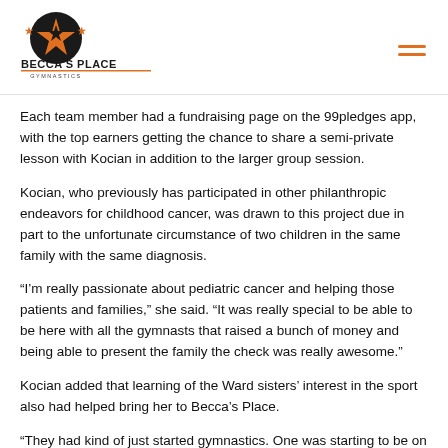Becca's Place Gymnastics
Each team member had a fundraising page on the 99pledges app, with the top earners getting the chance to share a semi-private lesson with Kocian in addition to the larger group session.
Kocian, who previously has participated in other philanthropic endeavors for childhood cancer, was drawn to this project due in part to the unfortunate circumstance of two children in the same family with the same diagnosis.
“I’m really passionate about pediatric cancer and helping those patients and families,” she said. “It was really special to be able to be here with all the gymnasts that raised a bunch of money and being able to present the family the check was really awesome.”
Kocian added that learning of the Ward sisters’ interest in the sport also had helped bring her to Becca’s Place.
“They had kind of just started gymnastics. One was starting to be on the up climb and then the next one got it and was diagnosed,” she said. “I’m sure it’s so hard for their family and just trying to